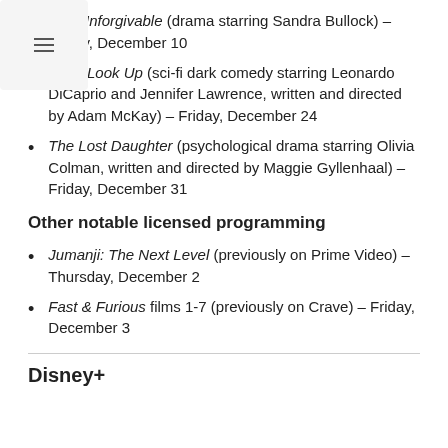The Unforgivable (drama starring Sandra Bullock) – Friday, December 10
Don't Look Up (sci-fi dark comedy starring Leonardo DiCaprio and Jennifer Lawrence, written and directed by Adam McKay) – Friday, December 24
The Lost Daughter (psychological drama starring Olivia Colman, written and directed by Maggie Gyllenhaal) – Friday, December 31
Other notable licensed programming
Jumanji: The Next Level (previously on Prime Video) – Thursday, December 2
Fast & Furious films 1-7 (previously on Crave) – Friday, December 3
Disney+